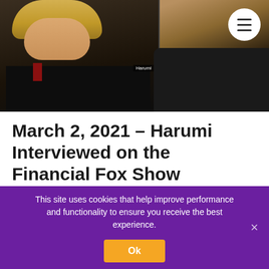[Figure (screenshot): Video call screenshot showing two people: a blonde woman on the left and a person labeled 'Harumi' on the right, with a hamburger menu button in the top-right corner]
March 2, 2021 – Harumi Interviewed on the Financial Fox Show
BLOCKCHAIN , COMMERCIAL , CRYPTOCURRENCY , ENTERPRISE , FINTECH , VIDEO
This site uses cookies that help improve performance and functionality to ensure you receive the best experience.